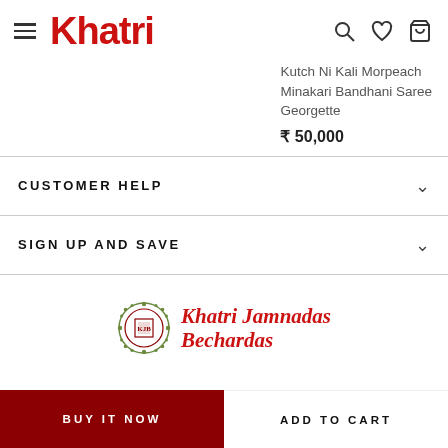Khatri
Kutch Ni Kali Morpeach Minakari Bandhani Saree Georgette
₹ 50,000
CUSTOMER HELP
SIGN UP AND SAVE
[Figure (logo): Khatri Jamnadas Bechardas brand logo with decorative emblem]
BUY IT NOW
ADD TO CART